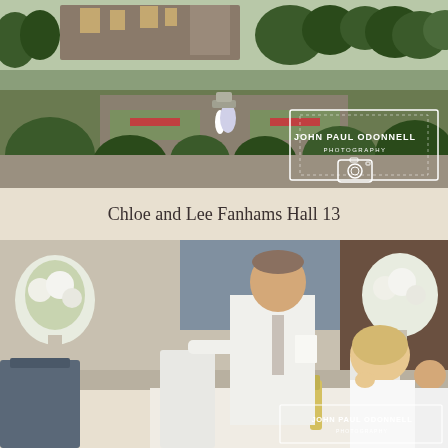[Figure (photo): Wedding couple standing in formal garden with topiary hedges and historic hall building in background. Photographer watermark overlay reading JOHN PAUL ODONNELL PHOTOGRAPHY with camera icon in white rectangle border.]
Chloe and Lee Fanhams Hall 13
[Figure (photo): Wedding reception speech scene indoors. Man standing in white shirt and tie reading from paper, bride seated beside him laughing, child seated to the right. White floral arrangements visible. Photographer watermark JOHN PAUL ODONNELL visible at bottom right.]